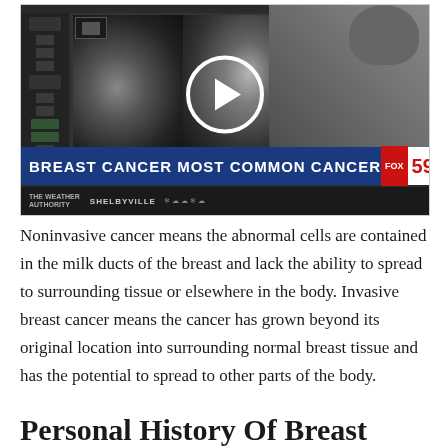[Figure (screenshot): Television news screenshot showing a person viewing mammogram images on a medical monitor screen. A play button overlay is visible in the center. A Fox 59 news ticker at the bottom reads 'BREAST CANCER MOST COMMON CANCER' with time showing 4:49 and temperature 22°. Weather ticker below shows SHELBYVILLE.]
Noninvasive cancer means the abnormal cells are contained in the milk ducts of the breast and lack the ability to spread to surrounding tissue or elsewhere in the body. Invasive breast cancer means the cancer has grown beyond its original location into surrounding normal breast tissue and has the potential to spread to other parts of the body.
Personal History Of Breast...